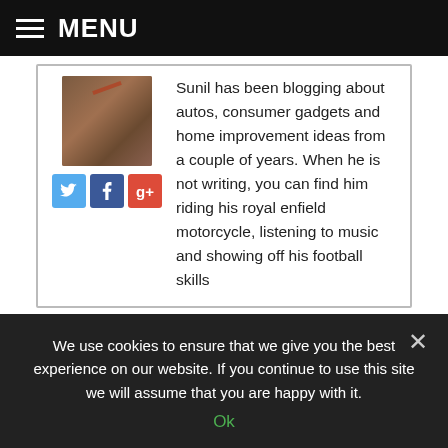MENU
Sunil has been blogging about autos, consumer gadgets and home improvement ideas from a couple of years. When he is not writing, you can find him riding his royal enfield motorcycle, listening to music and showing off his football skills
Chinese aircraft manufacturer, DJI phantom, DJI phantom drone, drone, electric aviation, quadcopter, Typhoon Q500 4K drone, Typhoon Q500 drone, Yuneec International, Yuneec Typhoon Q500 4K drone
We use cookies to ensure that we give you the best experience on our website. If you continue to use this site we will assume that you are happy with it. Ok